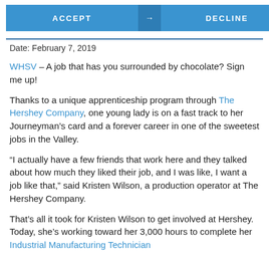[Figure (other): Two buttons side by side: ACCEPT (blue) with arrow and DECLINE (blue) with arrow]
Date: February 7, 2019
WHSV – A job that has you surrounded by chocolate? Sign me up!
Thanks to a unique apprenticeship program through The Hershey Company, one young lady is on a fast track to her Journeyman's card and a forever career in one of the sweetest jobs in the Valley.
“I actually have a few friends that work here and they talked about how much they liked their job, and I was like, I want a job like that,” said Kristen Wilson, a production operator at The Hershey Company.
That’s all it took for Kristen Wilson to get involved at Hershey. Today, she’s working toward her 3,000 hours to complete her Industrial Manufacturing Technician